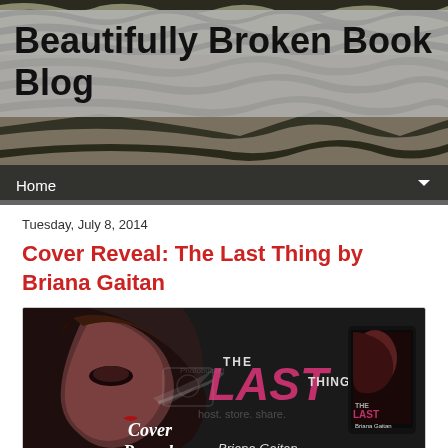Beautifully Broken Book Blog
Home
Tuesday, July 8, 2014
Cover Reveal: The Last Thing by Briana Gaitan
[Figure (photo): Book cover reveal banner for 'The Last Thing' by Briana Gaitan. Shows a woman's face in profile with a dark/dramatic tone. Large stylized text reads 'THE LAST THING' with 'LAST' in large pink/magenta letters. Also shows a tablet device displaying the book cover. Text overlay reads 'Cover Reveal' in script font. Photobucket watermark visible.]